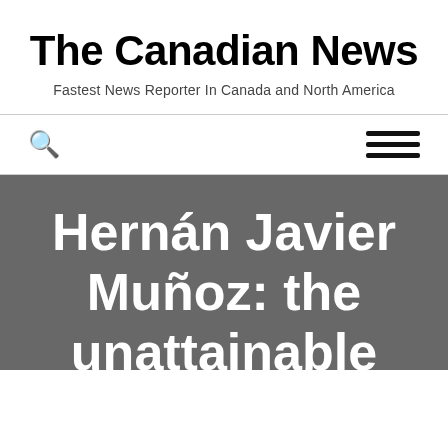The Canadian News
Fastest News Reporter In Canada and North America
Hernán Javier Muñoz: the unattainable